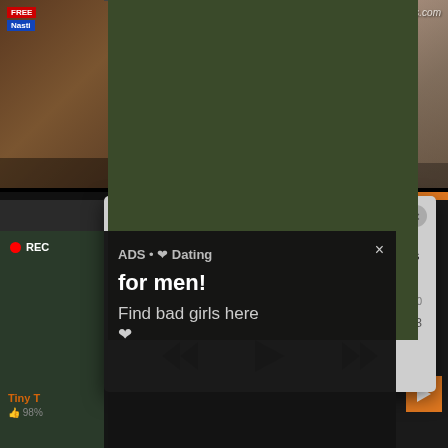[Figure (screenshot): Background webpage with adult video thumbnails grid, partially obscured by ad overlays. Top-left thumbnail shows a dark interior scene with a 'FREE' and 'Nasti' badge. Top-right thumbnail shows a bathroom scene with 'oldpigs.com' watermark. Below are more video thumbnails.]
[Figure (screenshot): Popup ad styled as a missed call notification. Shows a green phone icon, 'ADS' label, bold text '(1)Missed Call from Eliza', subtitle 'pleeease call me back.. I miss you!', an audio progress bar, timestamp '0:00' to '3:23', and playback controls (rewind, play, fast-forward). Close button (x) top right.]
[Figure (screenshot): Second popup ad with dark background. Left side shows a photo of a young woman taking a selfie with 'REC' recording badge overlay and camera focus rectangle. Right side shows text 'ADS • ❤ Dating for men!' and 'Find bad girls here ❤' with a close (x) button.]